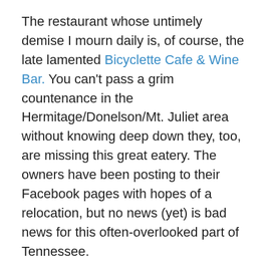The restaurant whose untimely demise I mourn daily is, of course, the late lamented Bicyclette Cafe & Wine Bar. You can't pass a grim countenance in the Hermitage/Donelson/Mt. Juliet area without knowing deep down they, too, are missing this great eatery. The owners have been posting to their Facebook pages with hopes of a relocation, but no news (yet) is bad news for this often-overlooked part of Tennessee.
Movies & TV
These are going to have to be in a sequel post next Monday, because what I have to say here could fill a book. But I'll leave you with a preview: Terriers was the best show you've never heard of. The first season–13 perfect episodes of awesome–are now on Netflix. Watch it, love it and mourn it all in a few days. And